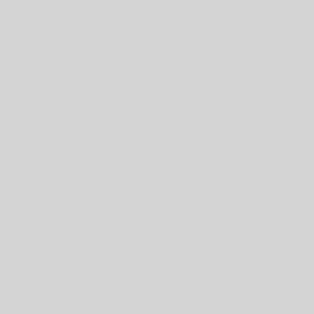'utf8_bin' is a collation of the deprecated character set UTF8MB. Please consider using UTF8MB with an appropriate collation instead. 2022-02-27T17:45 1 [ERROR] [MY-011011] [Server] Failed to find valid data directory. 2022-02-